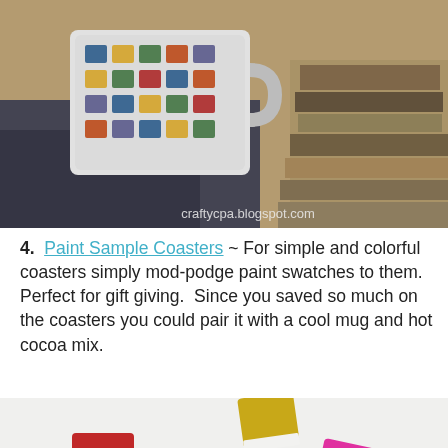[Figure (photo): Photo of a mug with colorful cup pattern sitting on dark coasters, with stacked books on a wooden surface. Watermark text: craftycpa.blogspot.com]
4.  Paint Sample Coasters ~ For simple and colorful coasters simply mod-podge paint swatches to them.  Perfect for gift giving.  Since you saved so much on the coasters you could pair it with a cool mug and hot cocoa mix.
[Figure (photo): Photo of colorful Pantone paint swatch coasters scattered on a white surface in red, blue, yellow, pink, orange, and yellow-green colors.]